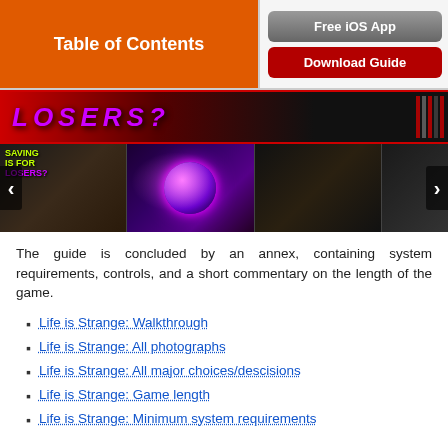Table of Contents
Free iOS App
Download Guide
[Figure (screenshot): Banner with stylized text and game thumbnails carousel for Life is Strange]
The guide is concluded by an annex, containing system requirements, controls, and a short commentary on the length of the game.
Life is Strange: Walkthrough
Life is Strange: All photographs
Life is Strange: All major choices/descisions
Life is Strange: Game length
Life is Strange: Minimum system requirements